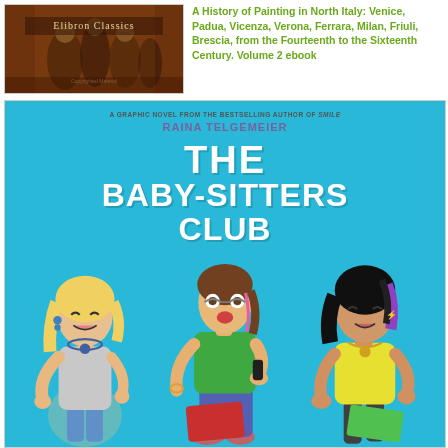[Figure (photo): Book cover of 'A History of Painting in North Italy' from Elibron Classics series, showing a dark painting with classical figures, warm brown tones]
A History of Painting in North Italy: Venice, Padua, Vicenza, Verona, Ferrara, Milan, Friuli, Brescia, from the Fourteenth to the Sixteenth Century. Volume 2 ebook
[Figure (photo): Book cover of The Baby-Sitters Club graphic novel by Raina Telgemeier. Bright teal/cyan background with large white bold title text 'THE BABY-SITTERS CLUB'. Subtitle reads 'A Graphic Novel from the Bestselling Author of SMILE' and author name 'RAINA TELGEMEIER' in purple. Three cartoon girls illustrated at the bottom: a blonde girl on left, a brunette girl in center talking on phone, and a punk-style girl with black and purple hair on right.]